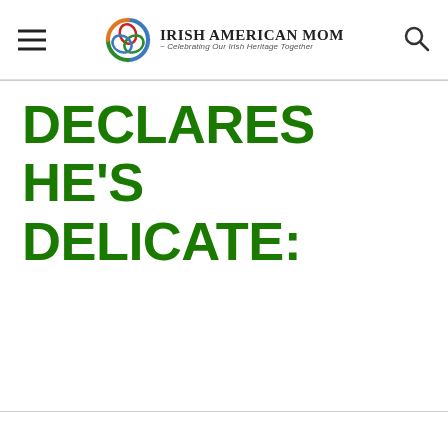Irish American Mom - Celebrating Our Irish Heritage Together
DECLARES HE'S DELICATE: